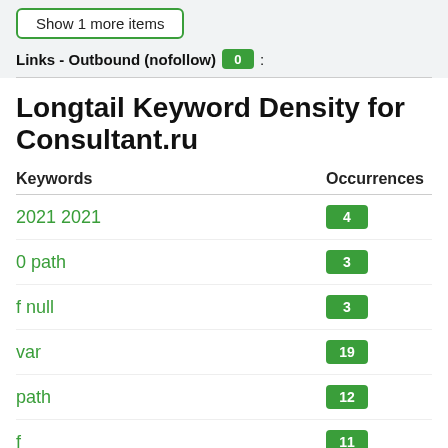Show 1 more items
Links - Outbound (nofollow) 0:
Longtail Keyword Density for Consultant.ru
| Keywords | Occurrences |
| --- | --- |
| 2021 2021 | 4 |
| 0 path | 3 |
| f null | 3 |
| var | 19 |
| path | 12 |
| f | 11 |
| if | 10 |
| 0 | 7 |